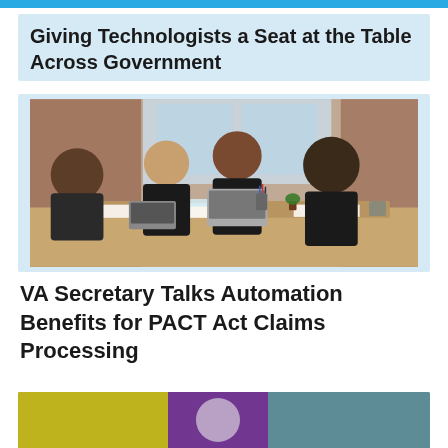Giving Technologists a Seat at the Table Across Government
[Figure (photo): Four professionals having a meeting around a table with laptops and papers in an office with brick walls and large windows]
VA Secretary Talks Automation Benefits for PACT Act Claims Processing
[Figure (photo): Partially visible image at bottom of page, appears to show a colorful background with people]